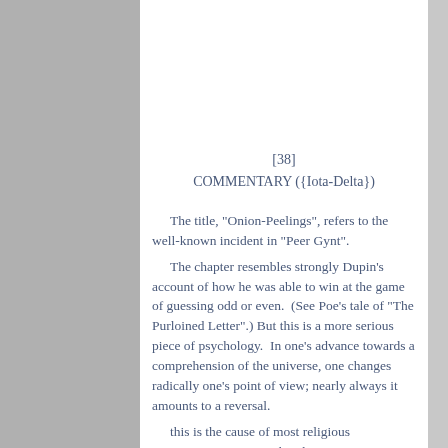[38]
COMMENTARY ({Iota-Delta})
The title, "Onion-Peelings", refers to the well-known incident in "Peer Gynt".
The chapter resembles strongly Dupin's account of how he was able to win at the game of guessing odd or even.  (See Poe's tale of "The Purloined Letter".) But this is a more serious piece of psychology.  In one's advance towards a comprehension of the universe, one changes radically one's point of view; nearly always it amounts to a reversal.
this is the cause of most religious controversies. Paragraph 1, however, is Frater Perdurabo's formula-tion of his perception of the Universal Joke, also described in Chapter 34.  All individual existence is